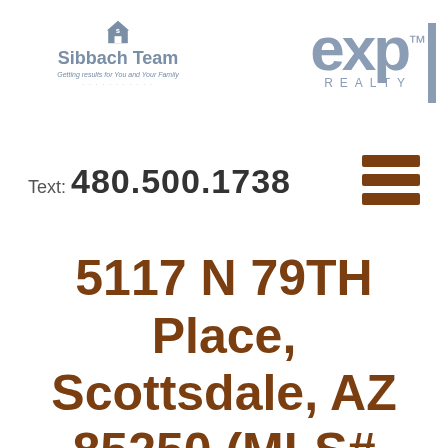[Figure (logo): Sibbach Team logo with house icon and tagline 'Getting results for You and Your Family']
[Figure (logo): eXp Realty logo in grey-blue color]
Text: 480.500.1738
[Figure (other): Hamburger menu icon with three brown horizontal lines]
5117 N 79TH Place, Scottsdale, AZ 85250 (MLS# 4003131)